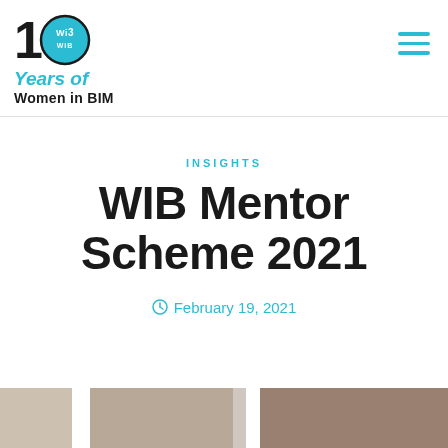[Figure (logo): Women in BIM 10 Years logo — numeral 1, teal circle with WiB text, then 'Years of' in teal italic and 'Women in BIM' in black bold below]
INSIGHTS
WIB Mentor Scheme 2021
February 19, 2021
[Figure (photo): Bottom strip showing partial photographs — warm-toned images, likely people or indoor scenes, partially visible at page bottom]